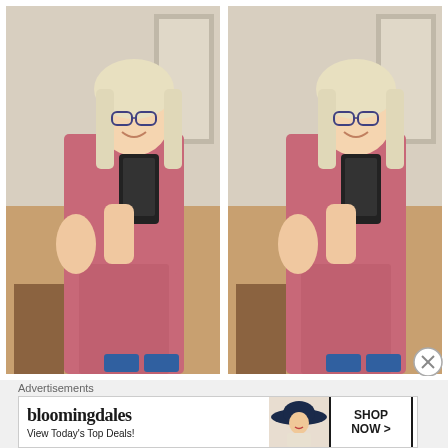[Figure (photo): Two side-by-side mirror selfie photos of a young blonde woman wearing glasses and pink medical scrubs, holding a phone and waving at the camera. The photos appear identical and are taken in a room with wooden flooring.]
Advertisements
[Figure (infographic): Bloomingdale's advertisement banner showing the Bloomingdale's logo in stylized text, 'View Today's Top Deals!' tagline, an image of a woman in a wide-brim hat, and a 'SHOP NOW >' button box.]